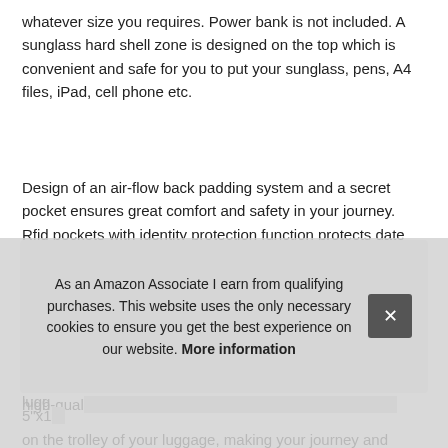whatever size you requires. Power bank is not included. A sunglass hard shell zone is designed on the top which is convenient and safe for you to put your sunglass, pens, A4 files, iPad, cell phone etc.
Design of an air-flow back padding system and a secret pocket ensures great comfort and safety in your journey. Rfid pockets with identity protection function protects date encoded on most IDs, credit cards and passports.
More information #ad
Durable material: this stylish laptop backpack is made of high-qual... 5"x1...
3" la... lugg... on the trolley of your luggage, making your journey and
As an Amazon Associate I earn from qualifying purchases. This website uses the only necessary cookies to ensure you get the best experience on our website. More information